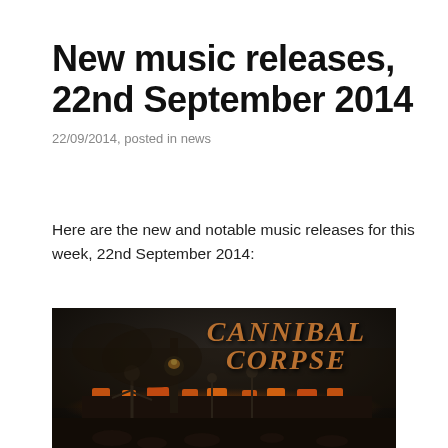New music releases, 22nd September 2014
22/09/2014, posted in news
Here are the new and notable music releases for this week, 22nd September 2014:
[Figure (photo): Dark fantasy/horror album artwork for Cannibal Corpse, featuring a dark atmospheric scene with skeletal figures, glowing fire elements, and the band name 'Cannibal Corpse' in dripping orange-brown lettering at the top right.]